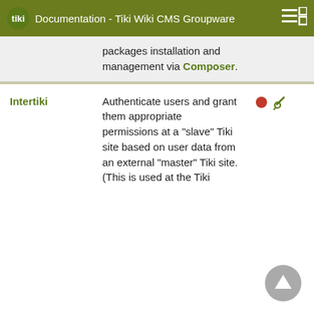Documentation - Tiki Wiki CMS Groupware
| Feature | Description | Icons |  |
| --- | --- | --- | --- |
|  | packages installation and management via Composer. |  |  |
| Intertiki | Authenticate users and grant them appropriate permissions at a "slave" Tiki site based on user data from an external "master" Tiki site. (This is used at the Tiki | ● 🔧 | D |